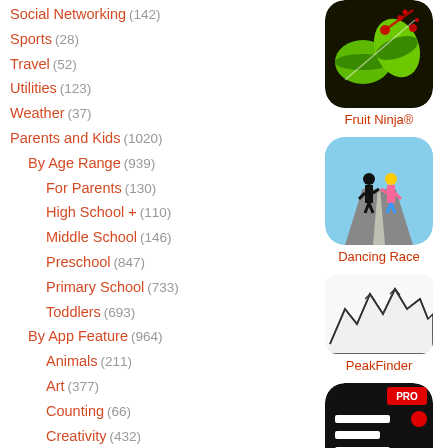Social Networking (142)
Sports (28)
Travel (52)
Utilities (123)
Weather (37)
Parents and Kids (1020)
By Age Range (939)
For Parents (130)
High School + (110)
Middle School (146)
Preschool (847)
Primary School (733)
Toddlers (693)
By App Feature (964)
Animals (211)
Art (377)
Counting (66)
Creativity (432)
Geography (29)
Health (59)
Just For Fun (760)
Language (324)
Matching (92)
Math (79)
[Figure (screenshot): Fruit Ninja app icon - green fruit being sliced with red splatter on dark background]
Fruit Ninja®
[Figure (screenshot): Dancing Race app icon - stylized runners on a road with colorful background]
Dancing Race
[Figure (screenshot): PeakFinder app icon - mountain peaks line drawing on white background]
PeakFinder
[Figure (screenshot): INKHUNTER PRO app icon - dark background with PRO badge and tattoo try-on interface]
INKHUNTER PRO Tattoos try on